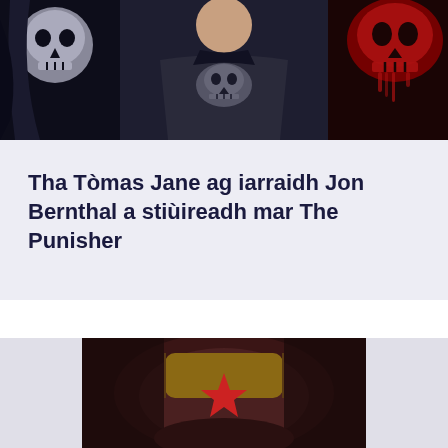[Figure (photo): The Punisher promotional image showing a man in dark armored costume with skull emblem, flanked by a skull mask on the left and a red Punisher skull logo on the right, dark dramatic lighting]
Tha Tòmas Jane ag iarraidh Jon Bernthal a stiùireadh mar The Punisher
[Figure (photo): Close-up of a dark helmet or mask with red star emblem, appears to be a costumed character helmet with brown and red detailing]